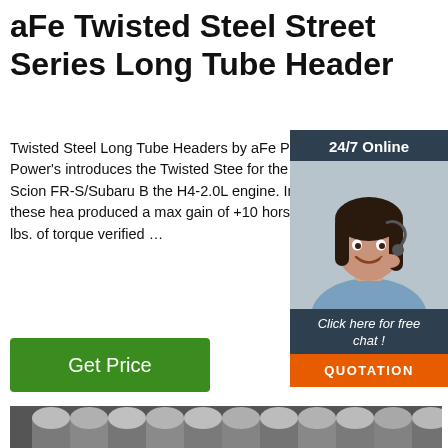aFe Twisted Steel Street Series Long Tube Header
Twisted Steel Long Tube Headers by aFe Power. aFe Power's introduces the Twisted Steel for the 2013-2016 Scion FR-S/Subaru B the H4-2.0L engine. In testing, these headers produced a max gain of +10 horsepower ft. lbs. of torque verified ...
[Figure (screenshot): Green 'Get Price' button]
[Figure (screenshot): 24/7 Online chat widget with a woman wearing a headset, 'Click here for free chat!' text, and an orange QUOTATION button]
[Figure (photo): Photo of stainless steel round bars/rods stacked together, with a red TOP badge in the lower right corner]